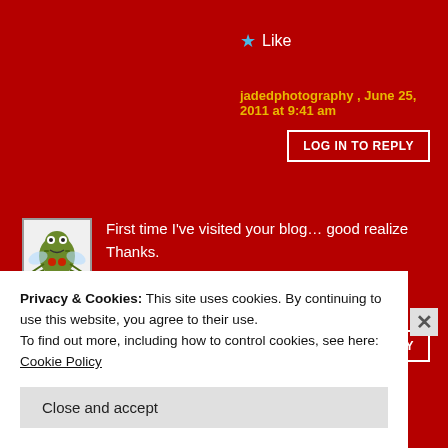★ Like
jadedphotography , June 25, 2011 at 9:41 am
LOG IN TO REPLY
[Figure (illustration): Small avatar icon of a cartoon insect/alien character on a white background]
First time I've visited your blog… good realize Thanks.
★ Like
Angelyn Puliafico , June 24, 2011 at 4:08 am
LOG IN TO REPLY
Privacy & Cookies: This site uses cookies. By continuing to use this website, you agree to their use.
To find out more, including how to control cookies, see here: Cookie Policy
Close and accept